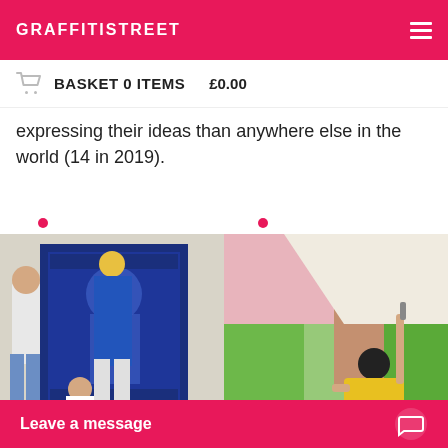GRAFFITISTREET
BASKET 0 ITEMS   £0.00
expressing their ideas than anywhere else in the world (14 in 2019).
[Figure (photo): Two people and a child working on a large blue street art mural on a wall, with text in it, one person standing on a stool.]
[Figure (photo): Person wearing a yellow Sepultura jersey painting a colorful geometric mural on a wall with a roller.]
Leave a message